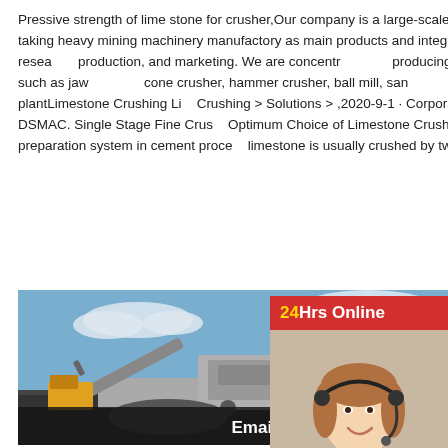Pressive strength of lime stone for crusher,Our company is a large-scale heavy enterprise that taking heavy mining machinery manufactory as main products and integrated with scientific research, production, and marketing. We are concentrating on producing and selling machines such as jaw crusher, cone crusher, hammer crusher, ball mill, sand maker, mobile crushing plantLimestone Crushing Li... Crushing > Solutions > ,2020-9-1 · Corporate Strength of DSMAC. Single Stage Fine Crus... Optimum Choice of Limestone Crushing! Fo... material preparation system in cement proce... limestone is usually crushed by two-stage cr...
[Figure (photo): Customer service representative with headset and '24Hrs Online' banner with chat widget showing 'Need questions & suggestion?' and 'Chat Now' button]
[Figure (photo): Outdoor photo of a large mobile crushing plant/machinery at a mining or quarry site, with blue sky. Bottom bar shows email: lmzgvip@gmail.com]